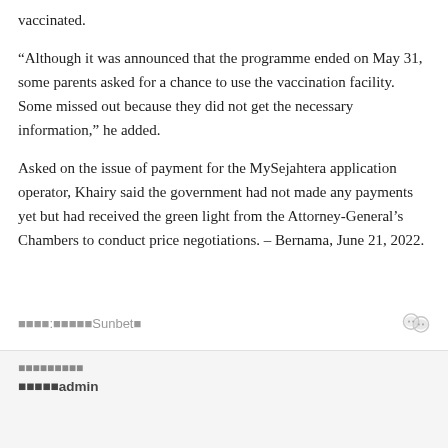vaccinated.
“Although it was announced that the programme ended on May 31, some parents asked for a chance to use the vaccination facility. Some missed out because they did not get the necessary information,” he added.
Asked on the issue of payment for the MySejahtera application operator, Khairy said the government had not made any payments yet but had received the green light from the Attorney-General’s Chambers to conduct price negotiations. – Bernama, June 21, 2022.
■■■■:■■■■■Sunbet■
■■■■■■■■■
■■■■■admin